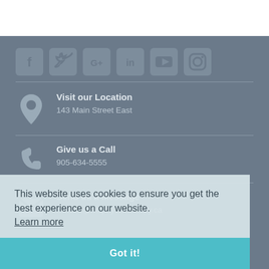[Figure (screenshot): Social media icons row: Facebook, Twitter, Google+, LinkedIn, YouTube, Instagram — rounded square icons in grey on dark grey background]
Visit our Location
143 Main Street East
Give us a Call
905-634-5555
Send us a Message
contact@actphysiotherapy.ca
This website uses cookies to ensure you get the best experience on our website.
Learn more
Got it!